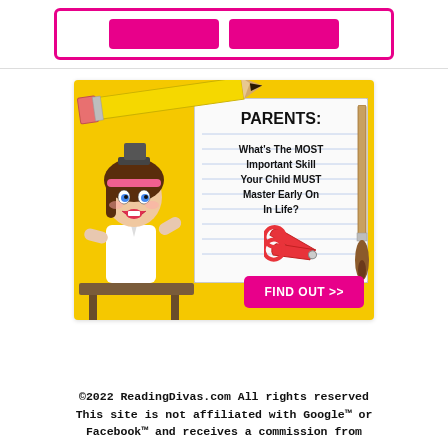[Figure (illustration): Top banner with pink bordered box containing two pink buttons, partially visible at top of page]
[Figure (illustration): Advertisement banner with yellow background showing a cartoon girl at a desk, a pencil, paintbrush, red scissors, a notepad with text 'PARENTS: What's The MOST Important Skill Your Child MUST Master Early On In Life?' and a pink 'FIND OUT >>' button]
©2022 ReadingDivas.com All rights reserved This site is not affiliated with Google™ or Facebook™ and receives a commission from